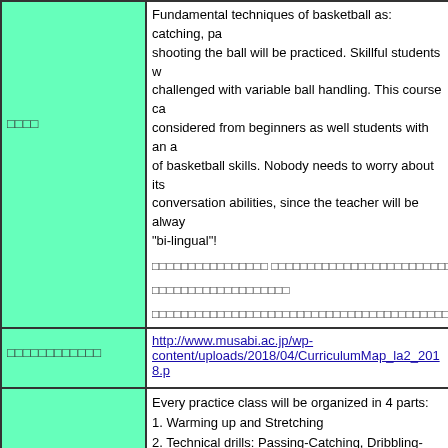| □□□□ | Fundamental techniques of basketball as: catching, pa... shooting the ball will be practiced. Skillful students w... challenged with variable ball handling. This course ca... considered from beginners as well students with an a... of basketball skills. Nobody needs to worry about its... conversation abilities, since the teacher will be alway... "bi-lingual"!

□□□□□□□□□□□□□□□□ □□□□□□□□□□□□□□□□□□□□□□□□□□□□□□□□□□□□□□□□□□□□□□□□
□□□□□□□□□□□□□□□□□□□
□□□□□□□□□□□□□□□□□□□□□□□□□□□□□□□□□□□□□□□□□□□□□□□ |
| □□□□□□□□□□□□ | http://www.musabi.ac.jp/wp-content/uploads/2018/04/CurriculumMap_la2_2018.p |
|  | Every practice class will be organized in 4 parts:
1. Warming up and Stretching
2. Technical drills: Passing-Catching, Dribbling-Shoo Offense-Defense
3. Single Shooting
4. Basketball game.
There will be plenty time, approximately 50 minutes, basketball in teams.

□□□□□□□□□□□□□□□□□□
1□ □□□□□□□□□□□□□□□
2□ □□□□□□□□□□□□□□□□□□□□□□□□□□□
3□ □□□□□□□□□□□□
4□ □□□□□□□□□ |